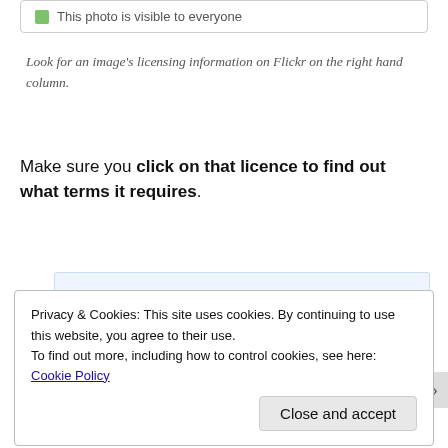[Figure (screenshot): UI checkbox element showing 'This photo is visible to everyone' with a green checkbox icon]
Look for an image's licensing information on Flickr on the right hand column.
Make sure you click on that licence to find out what terms it requires.
[Figure (screenshot): WordPress app advertisement: 'Build a writing habit. Post on the go.' with GET THE APP button and WordPress logo]
REPORT THIS AD
Privacy & Cookies: This site uses cookies. By continuing to use this website, you agree to their use.
To find out more, including how to control cookies, see here: Cookie Policy
Close and accept